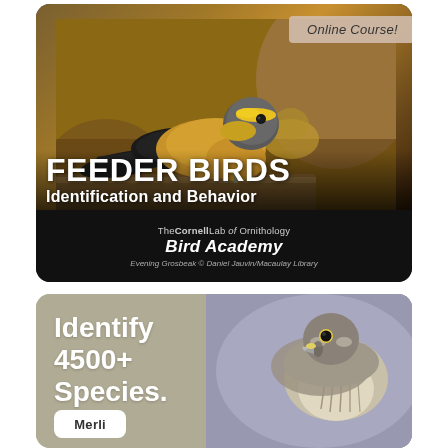[Figure (photo): Top card: Feeder Birds online course from Cornell Lab Bird Academy. Shows Evening Grosbeak bird photo with bold yellow and black plumage. Badge reads 'Online Course!' in top right. Title overlay reads 'FEEDER BIRDS Identification and Behavior'. Bottom bar shows Cornell Lab of Ornithology Bird Academy logo and photo credit: Evening Grosbeak © Daniel Jauvin/Macaulay Library.]
[Figure (photo): Bottom card: Merlin Bird ID app advertisement. Gray-brown background with a close-up photo of a small speckled hawk/falcon (Merlin). Left side text reads 'Identify 4500+ Species. Free.' Partial white rounded button visible at lower left, partially cut off.]